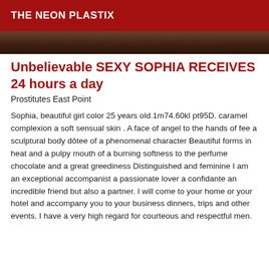THE NEON PLASTIX
[Figure (photo): Partial photo strip of a person, dark toned image]
Unbelievable SEXY SOPHIA RECEIVES 24 hours a day
Prostitutes East Point
Sophia, beautiful girl color 25 years old.1m74.60kl pt95D. caramel complexion a soft sensual skin . A face of angel to the hands of fee a sculptural body dôtee of a phenomenal character Beautiful forms in heat and a pulpy mouth of a burning softness to the perfume chocolate and a great greediness Distinguished and feminine I am an exceptional accompanist a passionate lover a confidante an incredible friend but also a partner. I will come to your home or your hotel and accompany you to your business dinners, trips and other events. I have a very high regard for courteous and respectful men.